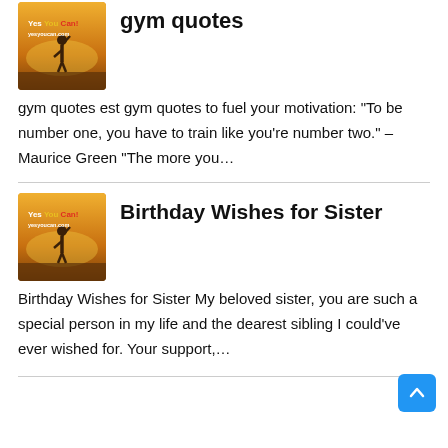[Figure (photo): Thumbnail image with 'Yes You Can!' text and silhouette figure, orange/sunset background, for gym quotes article]
gym quotes
gym quotes est gym quotes to fuel your motivation: “To be number one, you have to train like you’re number two.” – Maurice Green “The more you…
[Figure (photo): Thumbnail image with 'Yes You Can!' text and silhouette figure, orange/sunset background, for Birthday Wishes for Sister article]
Birthday Wishes for Sister
Birthday Wishes for Sister My beloved sister, you are such a special person in my life and the dearest sibling I could’ve ever wished for. Your support,…